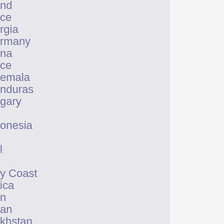…and
…ce
…rgia
…rmany
…na
…ce
…emala
…nduras
…gary
…
…onesia
…
…l
…
…y Coast
…ica
…n
…an
…khstan
…ait
…h Korea